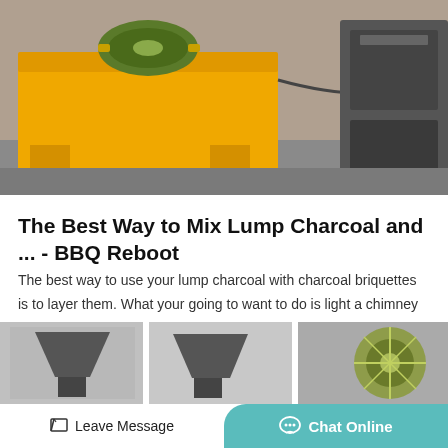[Figure (photo): Yellow industrial machine (roller/crusher) on a concrete floor, with dark machinery components visible]
The Best Way to Mix Lump Charcoal and ... - BBQ Reboot
The best way to use your lump charcoal with charcoal briquettes is to layer them. What your going to want to do is light a chimney of charcoal briquettes and make a bed of lit briquettes on the charcoal grates and then add your lump charcoal on top of that. This way…
[Figure (photo): Bottom strip showing industrial equipment photos — funnel/hopper shapes and machinery]
Leave Message  Chat Online